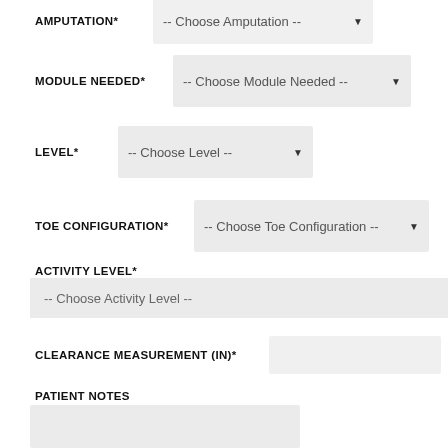AMPUTATION*
-- Choose Amputation --
MODULE NEEDED*
-- Choose Module Needed --
LEVEL*
-- Choose Level --
TOE CONFIGURATION*
-- Choose Toe Configuration --
ACTIVITY LEVEL*
-- Choose Activity Level --
CLEARANCE MEASUREMENT (IN)*
PATIENT NOTES